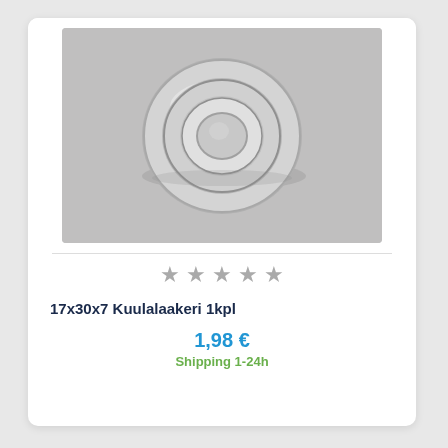[Figure (photo): A metal ball bearing (17x30x7 mm) photographed against a light gray background, showing the circular steel ring with inner race visible from a slight angle.]
17x30x7 Kuulalaakeri 1kpl
1,98 €
Shipping 1-24h